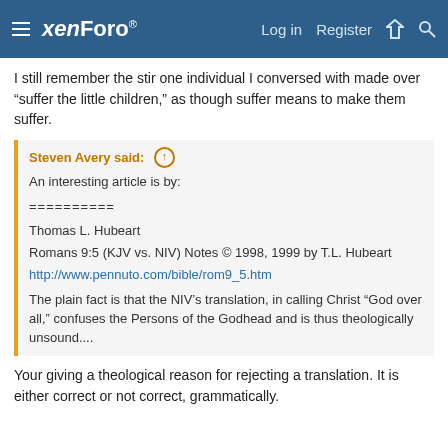xenForo — Log in  Register
I still remember the stir one individual I conversed with made over "suffer the little children," as though suffer means to make them suffer.
Steven Avery said: ↑

An interesting article is by:

==========

Thomas L. Hubeart
Romans 9:5 (KJV vs. NIV) Notes © 1998, 1999 by T.L. Hubeart
http://www.pennuto.com/bible/rom9_5.htm

The plain fact is that the NIV's translation, in calling Christ "God over all," confuses the Persons of the Godhead and is thus theologically unsound....
Your giving a theological reason for rejecting a translation. It is either correct or not correct, grammatically.